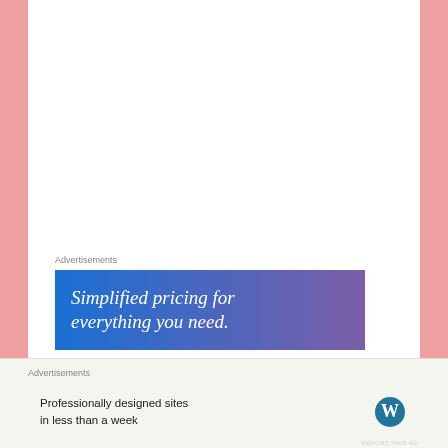[Figure (photo): Craft/DIY photo showing a glue bottle (GLOO brand) on a green cutting mat next to a black fabric piece with a metal grommet/eyelet installed. A wooden skewer or tool is visible at the top left corner.]
Advertisements
[Figure (other): Advertisement banner with blue-to-purple gradient background reading 'Simplified pricing for everything you need.' in white italic serif font]
Advertisements
[Figure (other): WordPress advertisement banner with light beige background reading 'Professionally designed sites in less than a week' with WordPress logo on the right]